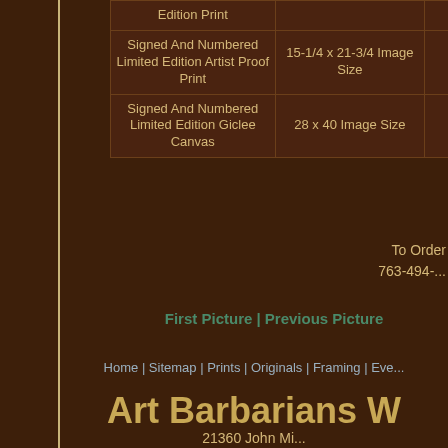| Type | Size | Qty |
| --- | --- | --- |
| Edition Print |  |  |
| Signed And Numbered Limited Edition Artist Proof Print | 15-1/4 x 21-3/4 Image Size | 100 |
| Signed And Numbered Limited Edition Giclee Canvas | 28 x 40 Image Size | 10 |
To Order 763-494-...
First Picture | Previous Picture
Home | Sitemap | Prints | Originals | Framing | Ever...
Art Barbarians W...
21360 John Mi... Rogers, MN...